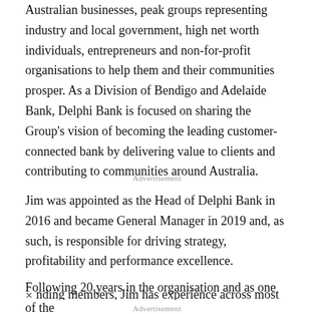Australian businesses, peak groups representing industry and local government, high net worth individuals, entrepreneurs and non-for-profit organisations to help them and their communities prosper. As a Division of Bendigo and Adelaide Bank, Delphi Bank is focused on sharing the Group's vision of becoming the leading customer-connected bank by delivering value to clients and contributing to communities around Australia.
Advertisement
Jim was appointed as the Head of Delphi Bank in 2016 and became General Manager in 2019 and, as such, is responsible for driving strategy, profitability and performance excellence.
Following 20 years in the organisation and as one of the nding members, Jim has experience across most areas
Advertisement